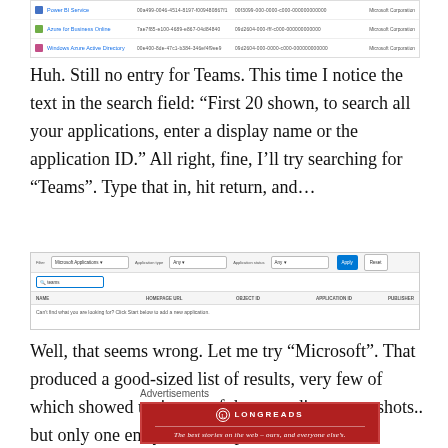[Figure (screenshot): Table listing Power BI Service, Azure for Business Online, and Windows Azure Active Directory entries with Application IDs, Object IDs, and Publisher columns showing Microsoft Corporation]
Huh. Still no entry for Teams. This time I notice the text in the search field: “First 20 shown, to search all your applications, enter a display name or the application ID.” All right, fine, I’ll try searching for “Teams”. Type that in, hit return, and…
[Figure (screenshot): Azure portal Enterprise Applications search page with 'Teams' typed in search box, showing no results found message]
Well, that seems wrong. Let me try “Microsoft”. That produced a good-sized list of results, very few of which showed up in any of the preceding screenshots.. but only one entry showed up with a name of “Microsoft Teams.”
Advertisements
[Figure (other): Longreads advertisement banner: red background with logo and tagline 'The best stories on the web – ours, and everyone else’s.']